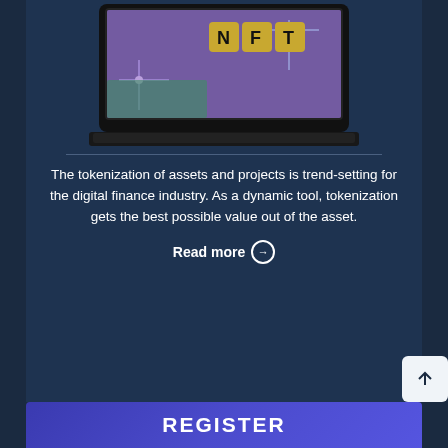[Figure (photo): Laptop screen displaying NFT letter blocks on a circuit board background, colorful digital art.]
The tokenization of assets and projects is trend-setting for the digital finance industry. As a dynamic tool, tokenization gets the best possible value out of the asset.
Read more →
REGISTER